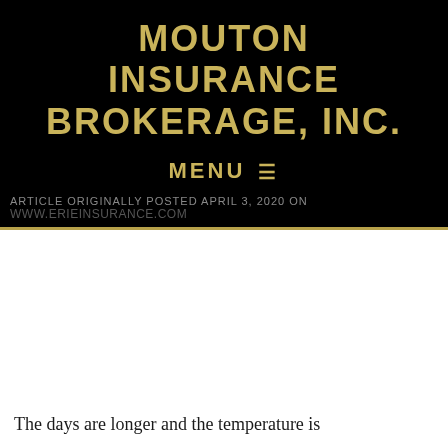MOUTON INSURANCE BROKERAGE, INC.
MENU ☰
ARTICLE ORIGINALLY POSTED APRIL 3, 2020 ON
WWW.ERIEINSURANCE.COM
The days are longer and the temperature is